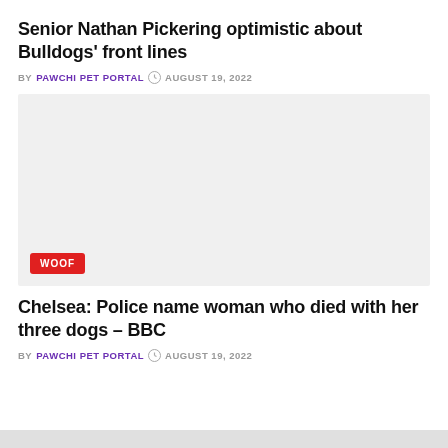Senior Nathan Pickering optimistic about Bulldogs' front lines
BY PAWCHI PET PORTAL  AUGUST 19, 2022
[Figure (photo): Light gray placeholder image with a red 'WOOF' badge in the bottom left corner]
Chelsea: Police name woman who died with her three dogs – BBC
BY PAWCHI PET PORTAL  AUGUST 19, 2022